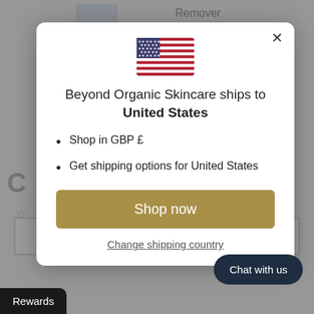[Figure (screenshot): Background of a skincare website page, greyed out behind modal overlay]
Beyond Organic Skincare ships to United States
Shop in GBP £
Get shipping options for United States
Shop now
Change shipping country
Chat with us
Rewards